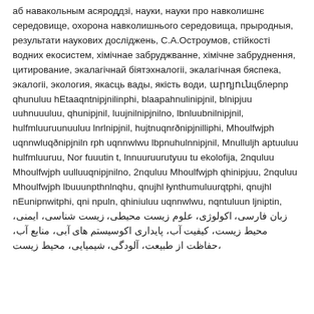аб навакольным асяроддзі, науки, науки про навколишнє середовище, охорона навколишнього середовища, прыродныя, результати наукових досліджень, С.А.Остроумов, стійкості водних екосистем, хімічнае забруджванне, хімічне забруднення, цитирование, экалагічнай біятэхналогіі, экалагічная бяспека, экалогіі, экология, якасць вады, якість води, արդյունցելերը գիտական հետազոտությունների, բնապահպանություն, բնության պահպանման, գիտություն, կայունությունըo, կենsաբանություն, համulurranakan կrtoptpiwն, հայтнагnрðnipjnwllinphi, Մhoulfwjph uqnnwluqðnipjnwl rph uqnnwlwu lpnuhuunnipjnwl, Մnulluljh uptuuluu hulfmluuruu, Nor fuuutin t, lnnuuruurutyuu tu ekologila, 2nquluu Мhoulfwjph uulluuqnipjnilno, 2nquluu Мhoulfwjph qhinipjuu, 2nquluu Мhoulfwjph lpuuunpthnlnqhu, qnujhl łynthumuluurqtphi, qnujhl nEunipnwitphi, qni npuln, qhiniuluu uqnnwlwu, nqntuluun ljniptin, زبان فارسی، اکولوژی، علوم زیست محیطی، زیست شناسی، ایمنی، محیط زیست، کیفیت آب، پایداری اکوسیستم های آبی، منابع آب، حفاظت از طبیعت، آلودگی، شیمیایی، محیط زیست،